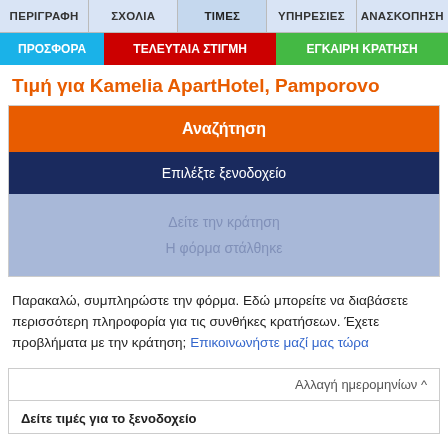ΠΕΡΙΓΡΑΦΗ | ΣΧΟΛΙΑ | ΤΙΜΕΣ | ΥΠΗΡΕΣΙΕΣ | ΑΝΑΣΚΟΠΗΣΗ
ΠΡΟΣΦΟΡΑ | ΤΕΛΕΥΤΑΙΑ ΣΤΙΓΜΗ | ΕΓΚΑΙΡΗ ΚΡΑΤΗΣΗ
Τιμή για Kamelia ApartHotel, Pamporovo
[Figure (screenshot): Booking wizard steps: Αναζήτηση (orange), Επιλέξτε ξενοδοχείο (dark blue), Δείτε την κράτηση (grey, inactive), Η φόρμα στάλθηκε (grey, inactive)]
Παρακαλώ, συμπληρώστε την φόρμα. Εδώ μπορείτε να διαβάσετε περισσότερη πληροφορία για τις συνθήκες κρατήσεων. Έχετε προβλήματα με την κράτηση; Επικοινωνήστε μαζί μας τώρα
Αλλαγή ημερομηνίων ^
Δείτε τιμές για το ξενοδοχείο